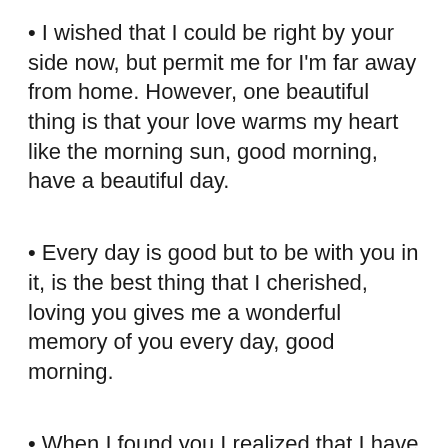I wished that I could be right by your side now, but permit me for I'm far away from home. However, one beautiful thing is that your love warms my heart like the morning sun, good morning, have a beautiful day.
Every day is good but to be with you in it, is the best thing that I cherished, loving you gives me a wonderful memory of you every day, good morning.
When I found you I realized that I have just found an angel, who makes my heart blissful every day, I would do anything to make you